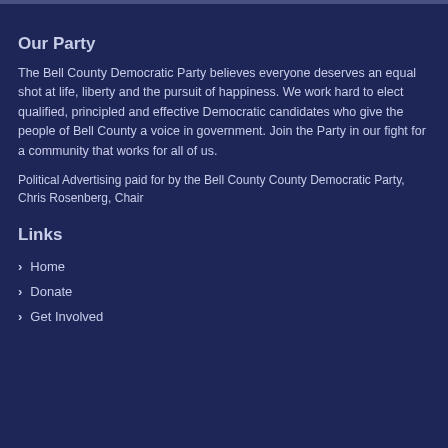Our Party
The Bell County Democratic Party believes everyone deserves an equal shot at life, liberty and the pursuit of happiness. We work hard to elect qualified, principled and effective Democratic candidates who give the people of Bell County a voice in government. Join the Party in our fight for a community that works for all of us.
Political Advertising paid for by the Bell County County Democratic Party, Chris Rosenberg, Chair
Links
Home
Donate
Get Involved